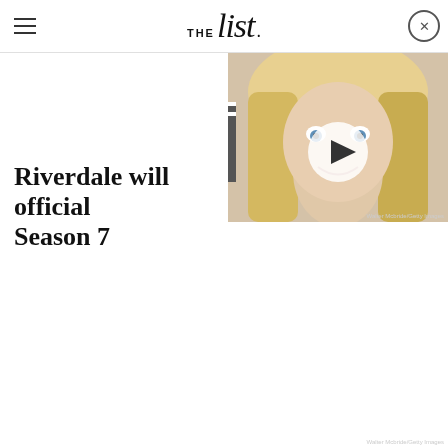THE list
[Figure (photo): Video thumbnail showing a blonde woman smiling, with a circular play button overlay. Partial text visible on left side of thumbnail.]
Riverdale will officially end with Season 7
Walter Mcbride/Getty Images